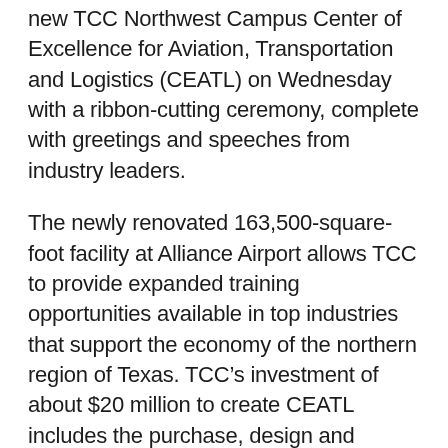new TCC Northwest Campus Center of Excellence for Aviation, Transportation and Logistics (CEATL) on Wednesday with a ribbon-cutting ceremony, complete with greetings and speeches from industry leaders.
The newly renovated 163,500-square-foot facility at Alliance Airport allows TCC to provide expanded training opportunities available in top industries that support the economy of the northern region of Texas. TCC's investment of about $20 million to create CEATL includes the purchase, design and renovation of the building, along with the cost of furnishing and moving programs from Northwest Campus.
“It was important for us to establish a center for aviation, transportation and logistics excellence in the Tarrant County College District because the need for transportation workers is continuing to grow,” said TCC Chancellor Erma Johnson Hadley. “As the only